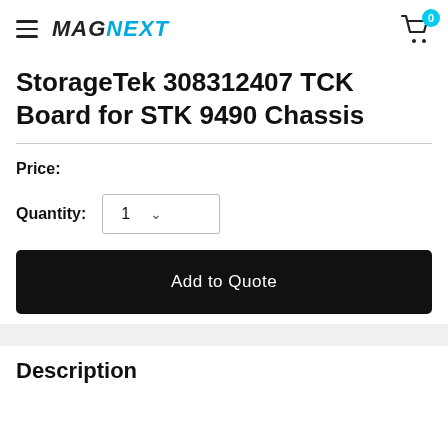MAGNEXT | Cart: 0
StorageTek 308312407 TCK Board for STK 9490 Chassis
Price:
Quantity: 1
Add to Quote
Description